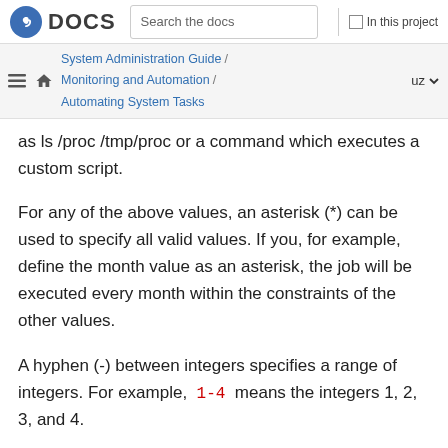Fedora DOCS | Search the docs | In this project
System Administration Guide / Monitoring and Automation / Automating System Tasks | uz
as ls /proc /tmp/proc or a command which executes a custom script.
For any of the above values, an asterisk (*) can be used to specify all valid values. If you, for example, define the month value as an asterisk, the job will be executed every month within the constraints of the other values.
A hyphen (-) between integers specifies a range of integers. For example, 1-4 means the integers 1, 2, 3, and 4.